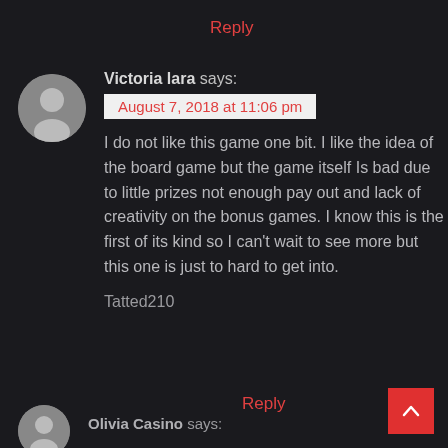Reply
Victoria lara says:
August 7, 2018 at 11:06 pm
I do not like this game one bit. I like the idea of the board game but the game itself Is bad due to little prizes not enough pay out and lack of creativity on the bonus games. I know this is the first of its kind so I can't wait to see more but this one is just to hard to get into.

Tatted210
Reply
Olivia Casino says: